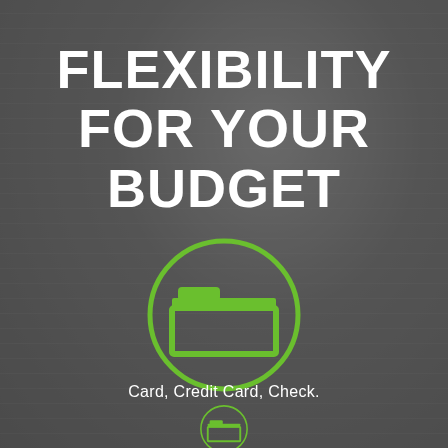FLEXIBILITY FOR YOUR BUDGET
[Figure (illustration): Green folder icon inside a green circle, centered on a blurred grey background]
Card, Credit Card, Check.
[Figure (illustration): Partial green folder/wallet icon inside a green circle, cropped at bottom of page]